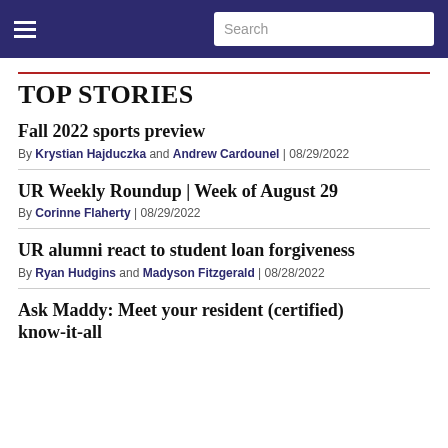Navigation bar with hamburger menu and search
TOP STORIES
Fall 2022 sports preview
By Krystian Hajduczka and Andrew Cardounel | 08/29/2022
UR Weekly Roundup | Week of August 29
By Corinne Flaherty | 08/29/2022
UR alumni react to student loan forgiveness
By Ryan Hudgins and Madyson Fitzgerald | 08/28/2022
Ask Maddy: Meet your resident (certified) know-it-all